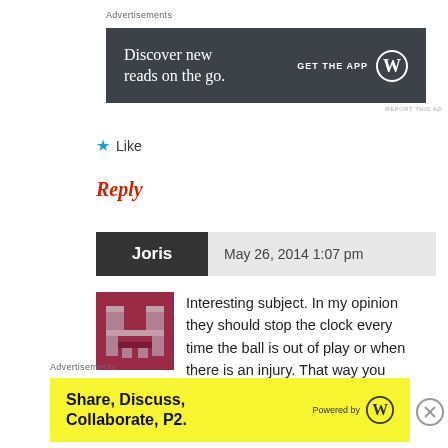[Figure (screenshot): Advertisement banner with dark gray background. Text: 'Discover new reads on the go.' and 'GET THE APP' with WordPress logo]
REPORT THIS AD
★ Like
Reply
Joris   May 26, 2014 1:07 pm
[Figure (illustration): Pixel art avatar with dark red/maroon and gray blocks on dark red background]
Interesting subject. In my opinion they should stop the clock every time the ball is out of play or when there is an injury. That way you keep
[Figure (screenshot): Advertisement banner with yellow background. Text: 'Share, Discuss, Collaborate, P2.' and 'Powered by' with WordPress logo]